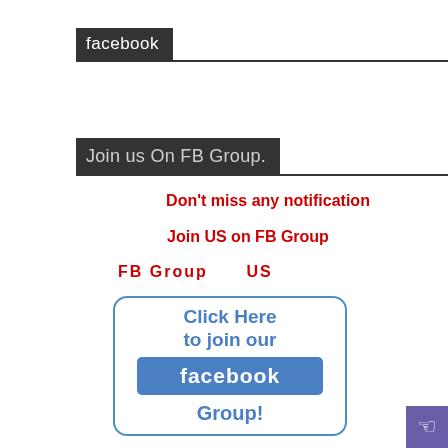[Figure (logo): Facebook logo text in dark box with horizontal line]
Join us On FB Group.
Don't miss any notification
Join US on FB Group
FB Group      US
[Figure (illustration): Click Here to join our facebook Group! button with rounded border, blue facebook box inside]